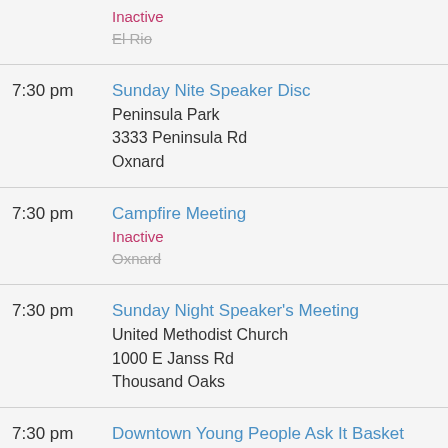Inactive
El Rio (strikethrough)
7:30 pm
Sunday Nite Speaker Disc
Peninsula Park
3333 Peninsula Rd
Oxnard
7:30 pm
Campfire Meeting
Inactive
Oxnard (strikethrough)
7:30 pm
Sunday Night Speaker's Meeting
United Methodist Church
1000 E Janss Rd
Thousand Oaks
7:30 pm
Downtown Young People Ask It Basket
Group 674125
Inactive